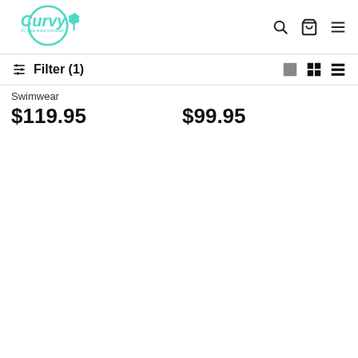[Figure (logo): Curvy by Capri brand swimwear logo in teal/turquoise with palm tree icon]
[Figure (infographic): Navigation icons: search, bag/cart, and hamburger menu]
Filter (1)
[Figure (infographic): View toggle icons: large grid, small grid, list view]
Swimwear
$119.95
$99.95